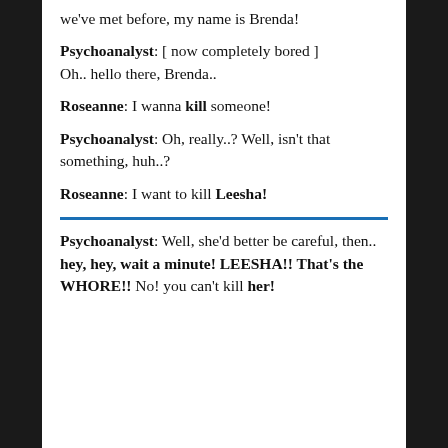we've met before, my name is Brenda!
Psychoanalyst: [ now completely bored ] Oh.. hello there, Brenda..
Roseanne: I wanna kill someone!
Psychoanalyst: Oh, really..? Well, isn't that something, huh..?
Roseanne: I want to kill Leesha!
Psychoanalyst: Well, she'd better be careful, then.. hey, hey, wait a minute! LEESHA!! That's the WHORE!! No! you can't kill her!